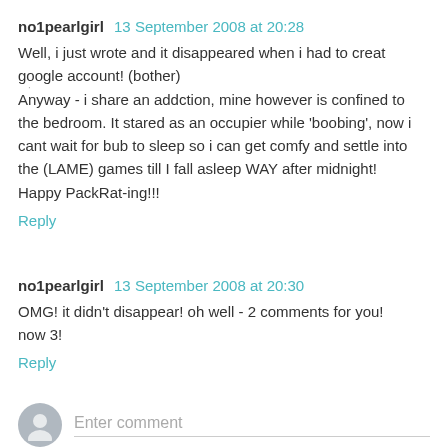no1pearlgirl  13 September 2008 at 20:28
Well, i just wrote and it disappeared when i had to creat google account! (bother)
Anyway - i share an addction, mine however is confined to the bedroom. It stared as an occupier while 'boobing', now i cant wait for bub to sleep so i can get comfy and settle into the (LAME) games till I fall asleep WAY after midnight!
Happy PackRat-ing!!!
Reply
no1pearlgirl  13 September 2008 at 20:30
OMG! it didn't disappear! oh well - 2 comments for you! now 3!
Reply
Enter comment